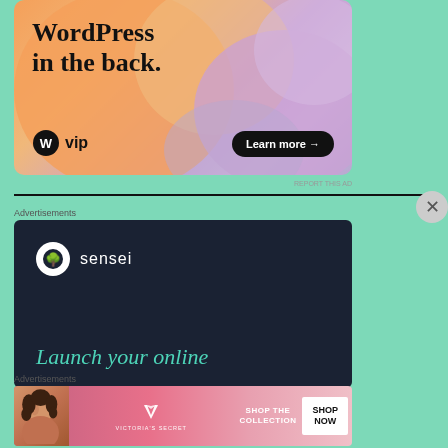[Figure (screenshot): WordPress VIP advertisement banner with orange/peach gradient background, large text 'WordPress in the back.', WordPress VIP logo on bottom left, and 'Learn more →' button on bottom right]
Advertisements
[Figure (screenshot): Sensei dark navy advertisement with Sensei logo (tree icon in circle) and brand name 'sensei', tagline 'Launch your online' in teal italic text]
Advertisements
[Figure (screenshot): Victoria's Secret advertisement on pink gradient background with woman's photo on left, Victoria's Secret logo and brand name in center, 'SHOP THE COLLECTION' text, and white 'SHOP NOW' button on right]